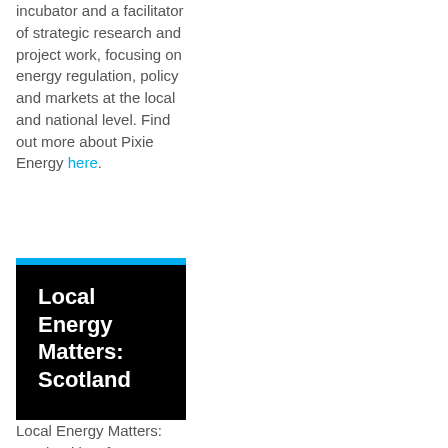incubator and a facilitator of strategic research and project work, focusing on energy regulation, policy and markets at the local and national level. Find out more about Pixie Energy here.
[Figure (other): Black box with cyan top bar containing bold white text: Local Energy Matters: Scotland]
Local Energy Matters: Scotland is a free-to-